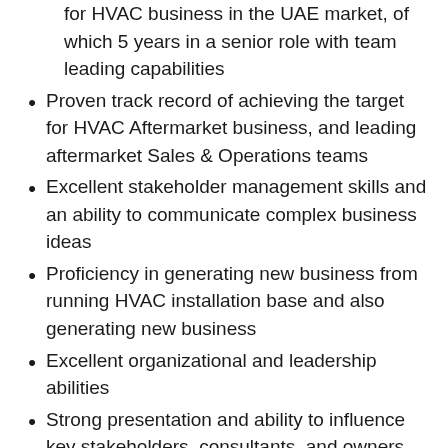for HVAC business in the UAE market, of which 5 years in a senior role with team leading capabilities
Proven track record of achieving the target for HVAC Aftermarket business, and leading aftermarket Sales & Operations teams
Excellent stakeholder management skills and an ability to communicate complex business ideas
Proficiency in generating new business from running HVAC installation base and also generating new business
Excellent organizational and leadership abilities
Strong presentation and ability to influence key stakeholders, consultants, and owners